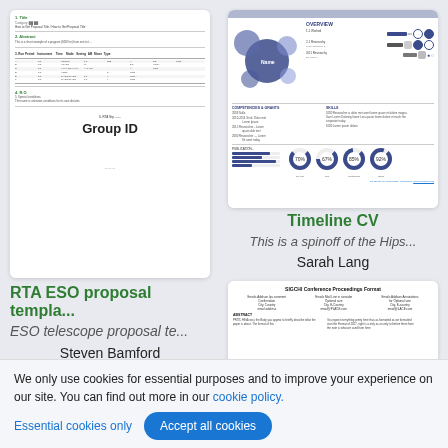[Figure (screenshot): Thumbnail preview of RTA ESO proposal template document showing form sections and a data table with columns for Row, Period, Instrument, Time, Mode, etc.]
RTA ESO proposal templa...
ESO telescope proposal te...
Steven Bamford
[Figure (screenshot): Thumbnail preview of Timeline CV document showing a colorful infographic-style CV with donut charts, bubble diagram, progress bars, and statistics sections.]
Timeline CV
This is a spinoff of the Hips...
Sarah Lang
[Figure (screenshot): Thumbnail preview of SIGCHI Conference Proceedings Format document showing title, author columns, abstract and body text.]
We only use cookies for essential purposes and to improve your experience on our site. You can find out more in our cookie policy.
Essential cookies only
Accept all cookies